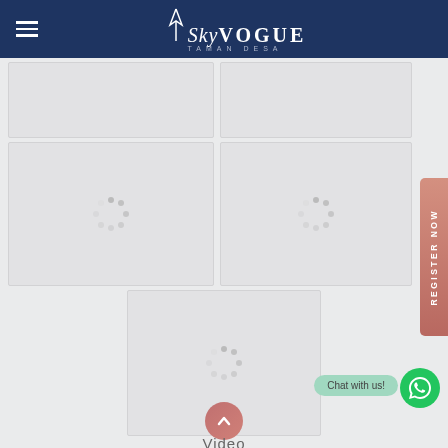[Figure (logo): SkyVogue Taman Desa logo in white on dark navy blue header bar with hamburger menu icon]
[Figure (screenshot): Website screenshot showing image gallery grid with loading spinner placeholders (5 image panels with spinning dots), a Register Now side tab in rose/salmon color, Chat with us button in mint green, WhatsApp circle button in green, scroll-up button and Video label at bottom]